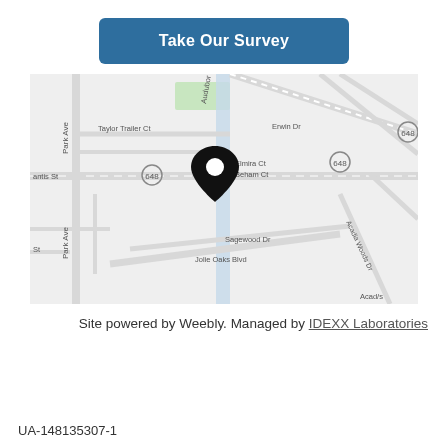[Figure (other): A blue rounded-rectangle button reading 'Take Our Survey']
[Figure (map): Google Maps screenshot showing a street map centered on a location pin near Elmira Ct and Beham Ct. Visible streets include Park Ave, Taylor Trailer Ct, Audubor, Erwin Dr, Elmira Ct, Beham Ct, Sagewood Dr, Jolie Oaks Blvd, Acadia Woods Dr, and route markers 648. A black map pin marks the location.]
Site powered by Weebly. Managed by IDEXX Laboratories
UA-148135307-1